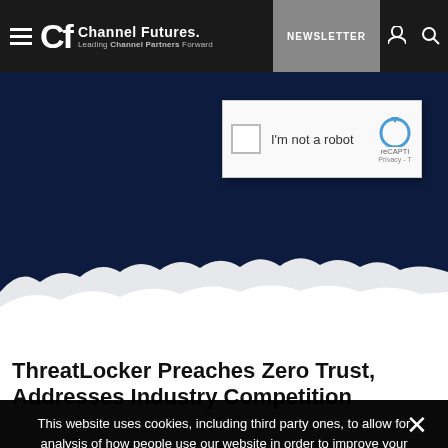Channel Futures — Leading Channel Partners Forward | NEWSLETTER
[Figure (screenshot): Dark navy hero image with white wave/crowd silhouette at bottom, partially covered by reCAPTCHA 'I'm not a robot' dialog]
ThreatLocker Preaches Zero Trust, Addresses Industry Competition
This website uses cookies, including third party ones, to allow for analysis of how people use our website in order to improve your experience and our services. By continuing to use our website, you agree to the use of such cookies. Click here for more information on our Cookie Policy and Privacy Policy.